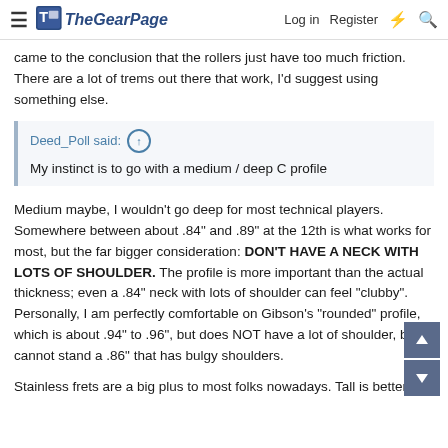The Gear Page — Log in  Register
came to the conclusion that the rollers just have too much friction. There are a lot of trems out there that work, I'd suggest using something else.
Deed_Poll said: ↑
My instinct is to go with a medium / deep C profile
Medium maybe, I wouldn't go deep for most technical players. Somewhere between about .84" and .89" at the 12th is what works for most, but the far bigger consideration: DON'T HAVE A NECK WITH LOTS OF SHOULDER. The profile is more important than the actual thickness; even a .84" neck with lots of shoulder can feel "clubby". Personally, I am perfectly comfortable on Gibson's "rounded" profile, which is about .94" to .96", but does NOT have a lot of shoulder, but cannot stand a .86" that has bulgy shoulders.
Stainless frets are a big plus to most folks nowadays. Tall is better.